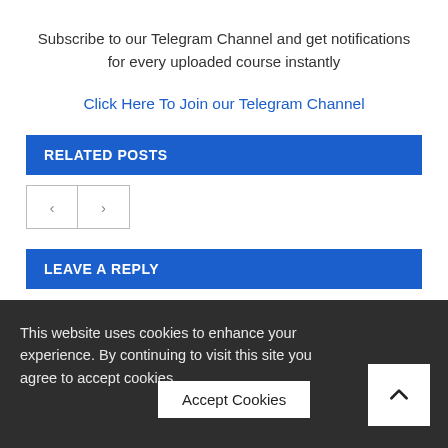Subscribe to our Telegram Channel and get notifications for every uploaded course instantly
Click Here To Join our Telegram Channel
RELATED POSTS
[Figure (other): Navigation previous and next arrow buttons]
LEAVE A REPLY
Your email address will not be published. Required fields are
This website uses cookies to enhance your experience. By continuing to visit this site you agree to accept cookies.
Accept Cookies